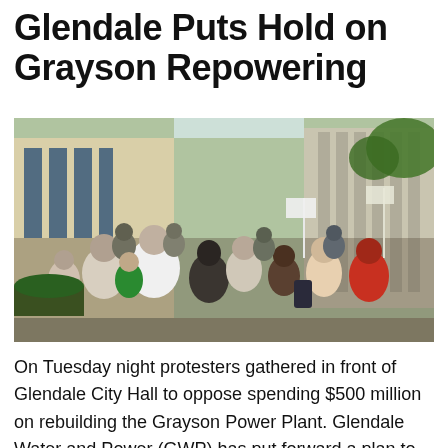Glendale Puts Hold on Grayson Repowering
[Figure (photo): A large crowd of protesters gathered in front of Glendale City Hall, many with signs, on a sunny evening. The building facade and trees are visible in the background.]
On Tuesday night protesters gathered in front of Glendale City Hall to oppose spending $500 million on rebuilding the Grayson Power Plant. Glendale Water and Power (GWP) has put forward a plan to replace obsolete generating units with newer ones, increasing the plant's